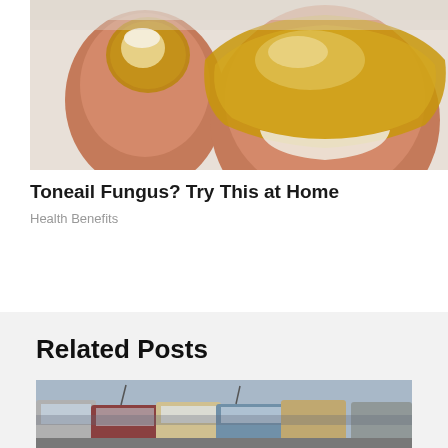[Figure (illustration): Close-up illustration of toes showing toenail fungus — discolored, thickened toenails on a light background]
Toneail Fungus? Try This at Home
Health Benefits
Related Posts
[Figure (photo): Photo of a crowded parking lot with many cars seen from above]